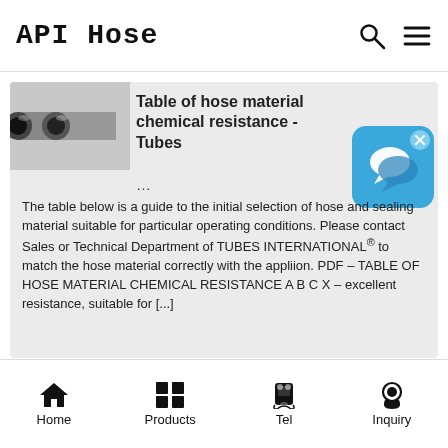API Hose
[Figure (photo): Two grey industrial hoses with black circular ends, photo thumbnail]
Table of hose material chemical resistance - Tubes
...
[Figure (illustration): Blue chat/speech bubble widget icon with X close button]
The table below is a guide to the initial selection of hose and sealing material suitable for particular operating conditions. Please contact Sales or Technical Department of TUBES INTERNATIONAL® to match the hose material correctly with the appliion. PDF – TABLE OF HOSE MATERIAL CHEMICAL RESISTANCE A B C X – excellent resistance, suitable for [...]
Home  Products  Tel  Inquiry